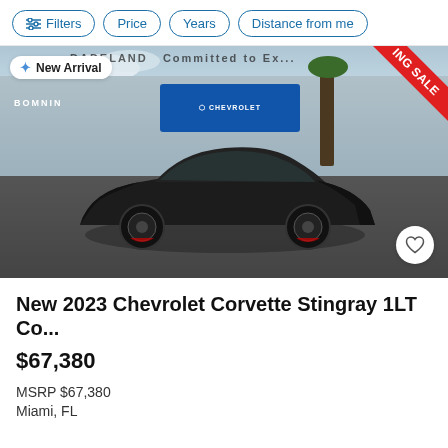Filters | Price | Years | Distance from me
[Figure (photo): Black 2023 Chevrolet Corvette Stingray parked in front of Bomnin Chevrolet dealership (Dadeland, Committed to Excellence). New Arrival badge top-left. Red GOING SALE diagonal banner top-right. Heart/favorite button bottom-right.]
New 2023 Chevrolet Corvette Stingray 1LT Co...
$67,380
MSRP $67,380
Miami, FL